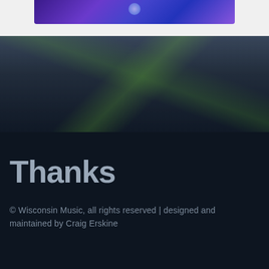[Figure (photo): Partial view of a concert/performance photo with purple and blue lighting effects at the top of the page]
[Figure (photo): Concert venue background photo showing stage lights including yellow/green laser beams, with a dark semi-transparent overlay. Shows arena seating and stage equipment.]
Thanks
© Wisconsin Music, all rights reserved | designed and maintained by Craig Erskine